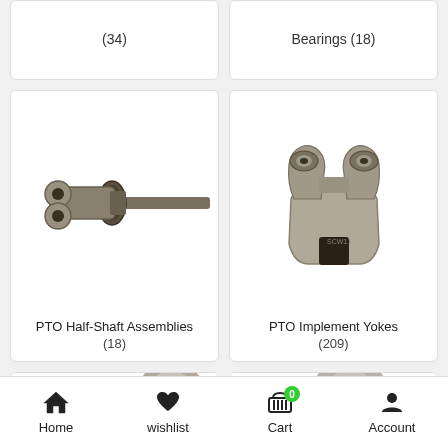(34)
Bearings (18)
[Figure (photo): PTO Half-Shaft Assembly mechanical part, metal yoke and shaft]
PTO Half-Shaft Assemblies
(18)
[Figure (photo): PTO Implement Yoke, cast metal fork-shaped connector]
PTO Implement Yokes
(209)
[Figure (photo): Partial view of another mechanical part, bottom row card]
[Figure (photo): Partial view of another mechanical part, bottom row card right]
Home   wishlist   Cart 0   Account